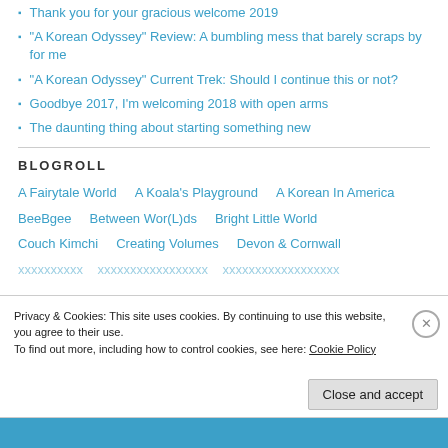Thank you for your gracious welcome 2019
“A Korean Odyssey” Review: A bumbling mess that barely scraps by for me
“A Korean Odyssey” Current Trek: Should I continue this or not?
Goodbye 2017, I’m welcoming 2018 with open arms
The daunting thing about starting something new
BLOGROLL
A Fairytale World    A Koala's Playground    A Korean In America    BeeBgee    Between Wor(L)ds    Bright Little World    Couch Kimchi    Creating Volumes    Devon & Cornwall
Privacy & Cookies: This site uses cookies. By continuing to use this website, you agree to their use.
To find out more, including how to control cookies, see here: Cookie Policy
Close and accept